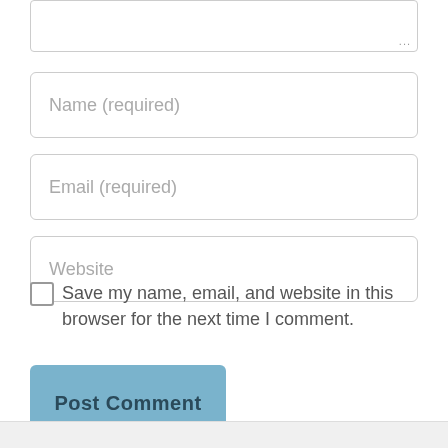[Figure (screenshot): Partial textarea input box at top of page, cropped]
Name (required)
Email (required)
Website
Save my name, email, and website in this browser for the next time I comment.
Post Comment